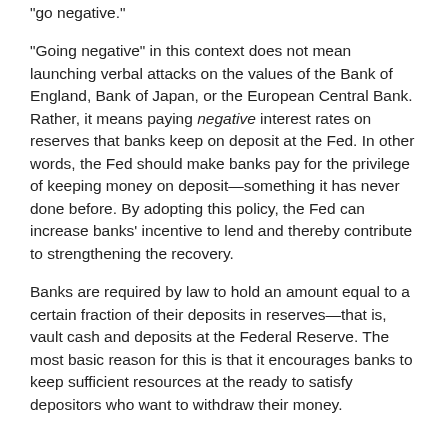“go negative.”
“Going negative” in this context does not mean launching verbal attacks on the values of the Bank of England, Bank of Japan, or the European Central Bank. Rather, it means paying negative interest rates on reserves that banks keep on deposit at the Fed. In other words, the Fed should make banks pay for the privilege of keeping money on deposit—something it has never done before. By adopting this policy, the Fed can increase banks’ incentive to lend and thereby contribute to strengthening the recovery.
Banks are required by law to hold an amount equal to a certain fraction of their deposits in reserves—that is, vault cash and deposits at the Federal Reserve. The most basic reason for this is that it encourages banks to keep sufficient resources at the ready to satisfy depositors who want to withdraw their money.